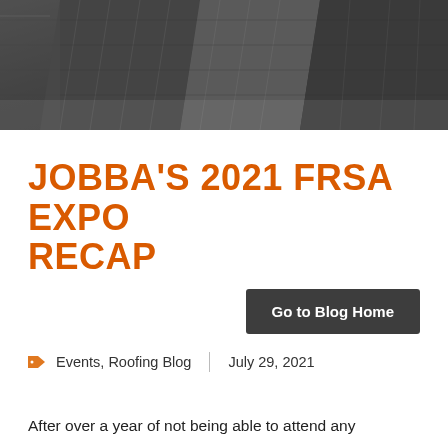[Figure (photo): Aerial black and white photograph of city skyscrapers and urban buildings taken from above at an angle]
JOBBA'S 2021 FRSA EXPO RECAP
Go to Blog Home
Events, Roofing Blog  |  July 29, 2021
After over a year of not being able to attend any